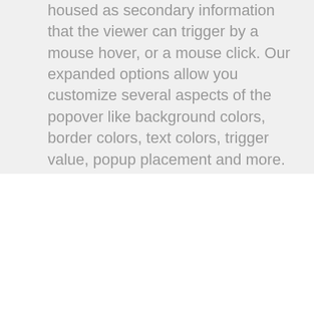housed as secondary information that the viewer can trigger by a mouse hover, or a mouse click. Our expanded options allow you customize several aspects of the popover like background colors, border colors, text colors, trigger value, popup placement and more.
[Figure (photo): Broken image placeholder labeled boys_reading]
Avada Popover Shortcode
Lorem ipsum dolor sit amet, consectetur adipisicing elit, sed do eiusmod tempor incididunt ut labore et dolore